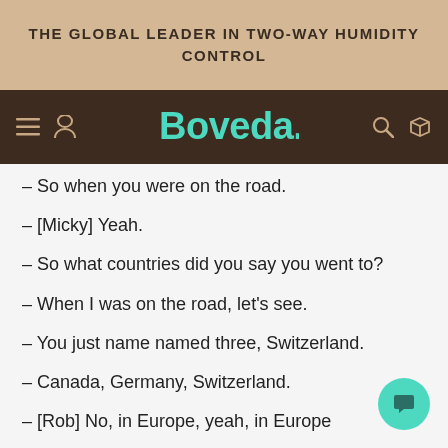THE GLOBAL LEADER IN TWO-WAY HUMIDITY CONTROL
[Figure (logo): Boveda logo in teal on dark brown navigation bar with hamburger menu, user icon, search icon, and box icon]
– So when you were on the road.
– [Micky] Yeah.
– So what countries did you say you went to?
– When I was on the road, let's see.
– You just name named three, Switzerland.
– Canada, Germany, Switzerland.
– [Rob] No, in Europe, yeah, in Europe